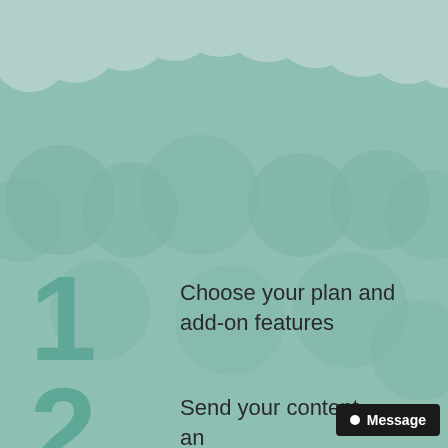[Figure (illustration): Teal/mint green background with crowd silhouette and cloud-like shapes at the top. Decorative page background for a step-by-step guide.]
1  Choose your plan and add-on features
2  Send your content an...